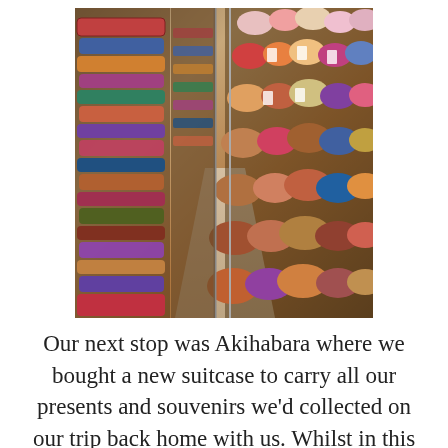[Figure (photo): Interior of a fabric/textile shop with rows of shelves densely packed with colorful rolls of fabric, spools, and bolts of material in various patterns and colors including floral prints, solid colors, and patterned textiles. The shop has a narrow aisle with shelving on both sides going into the distance.]
Our next stop was Akihabara where we bought a new suitcase to carry all our presents and souvenirs we'd collected on our trip back home with us. Whilst in this